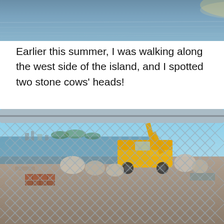[Figure (photo): Top portion of a photo showing a body of water with a reflective surface under a slightly hazy sky, cropped to show only the top portion]
Earlier this summer, I was walking along the west side of the island, and I spotted two stone cows' heads!
[Figure (photo): Photo taken through a chain-link fence showing a construction site with a yellow CAT backhoe loader, several large stone sculptural fragments including what appear to be cow heads on the ground, wooden pallets, bricks, and a waterway with urban skyline visible in the background]